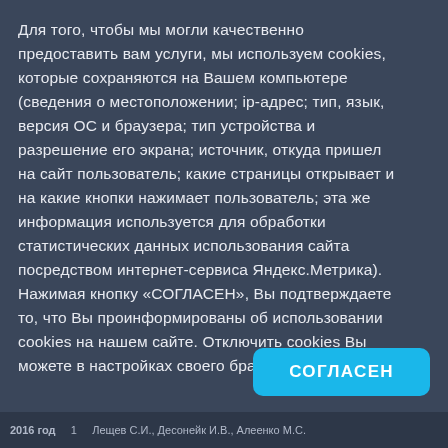Для того, чтобы мы могли качественно предоставить вам услуги, мы используем cookies, которые сохраняются на Вашем компьютере (сведения о местоположении; ip-адрес; тип, язык, версия ОС и браузера; тип устройства и разрешение его экрана; источник, откуда пришел на сайт пользователь; какие страницы открывает и на какие кнопки нажимает пользователь; эта же информация используется для обработки статистических данных использования сайта посредством интернет-сервиса Яндекс.Метрика). Нажимая кнопку «СОГЛАСЕН», Вы подтверждаете то, что Вы проинформированы об использовании cookies на нашем сайте. Отключить cookies Вы можете в настройках своего браузера.
СОГЛАСЕН
2016 год      1      Лещев С.И., Десонейк И.В., Алеенко М.С. ×